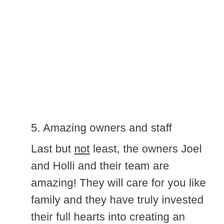5. Amazing owners and staff
Last but not least, the owners Joel and Holli and their team are amazing! They will care for you like family and they have truly invested their full hearts into creating an Indiana wedding venue experience that will blow you away while easing a lot of the typical stresses in wedding planning and provide a unique